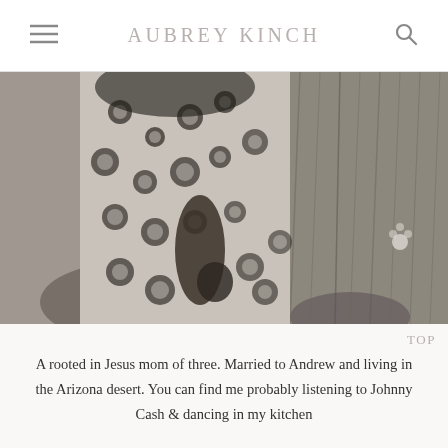AUBREY KINCH
[Figure (photo): Black and white photo of a woman in a floral patterned dress, seated outdoors among tall grasses and rocks]
TOP
A rooted in Jesus mom of three. Married to Andrew and living in the Arizona desert. You can find me probably listening to Johnny Cash & dancing in my kitchen